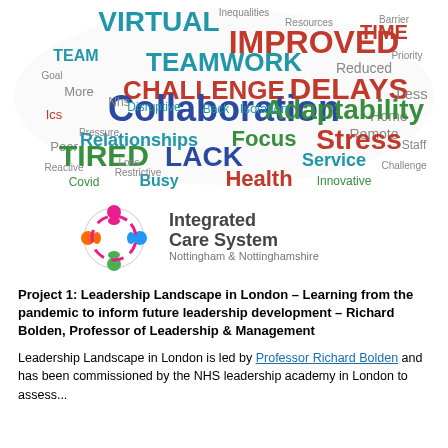[Figure (illustration): Word cloud containing terms related to NHS leadership and the pandemic. Prominent words include: VIRTUAL, IMPROVED, TIME, TEAMWORK, DELAYS, CHALLENGE, ADAPTABILITY, COLLABORATION, STRESS, TIRED, LACK, SERVICE, BUSY, HEALTH, FOCUS, Relationships, Team, Isolation, Covid, ICS, and many smaller words.]
[Figure (logo): Integrated Care System Nottingham & Nottinghamshire logo with circular figures icon in pink, blue, green and orange.]
Project 1: Leadership Landscape in London – Learning from the pandemic to inform future leadership development – Richard Bolden, Professor of Leadership & Management
Leadership Landscape in London is led by Professor Richard Bolden and has been commissioned by the NHS leadership academy in London to assess...